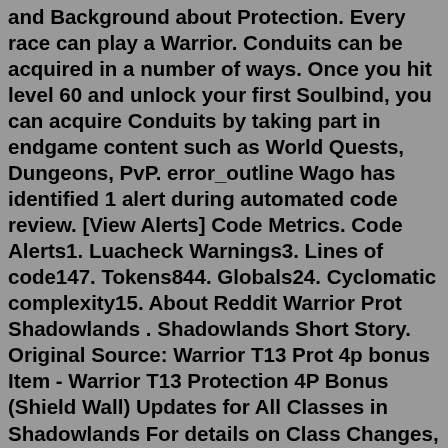and Background about Protection. Every race can play a Warrior. Conduits can be acquired in a number of ways. Once you hit level 60 and unlock your first Soulbind, you can acquire Conduits by taking part in endgame content such as World Quests, Dungeons, PvP. error_outline Wago has identified 1 alert during automated code review. [View Alerts] Code Metrics. Code Alerts1. Luacheck Warnings3. Lines of code147. Tokens844. Globals24. Cyclomatic complexity15. About Reddit Warrior Prot Shadowlands . Shadowlands Short Story. Original Source: Warrior T13 Prot 4p bonus Item - Warrior T13 Protection 4P Bonus (Shield Wall) Updates for All Classes in Shadowlands For details on Class Changes, Covenant Abilities, Anima Powers, Legendary Powers, and Conduits for all classes, check out our Shadowlands Class Guides :. i will list them and maybe someone can tell me what to do On this page, you will find out the best talents for each tier for your Protection Warrior in World of Warcraft — Shadowlands 9 However, when it comes to solo